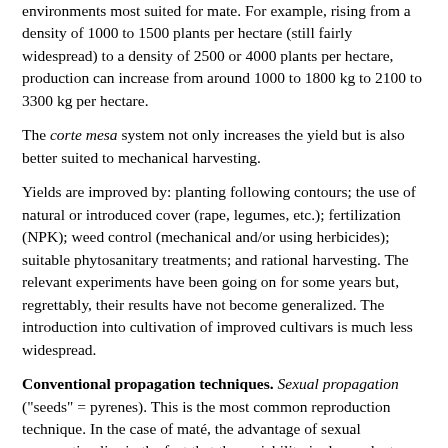environments most suited for mate. For example, rising from a density of 1000 to 1500 plants per hectare (still fairly widespread) to a density of 2500 or 4000 plants per hectare, production can increase from around 1000 to 1800 kg to 2100 to 3300 kg per hectare.
The corte mesa system not only increases the yield but is also better suited to mechanical harvesting.
Yields are improved by: planting following contours; the use of natural or introduced cover (rape, legumes, etc.); fertilization (NPK); weed control (mechanical and/or using herbicides); suitable phytosanitary treatments; and rational harvesting. The relevant experiments have been going on for some years but, regrettably, their results have not become generalized. The introduction into cultivation of improved cultivars is much less widespread.
Conventional propagation techniques. Sexual propagation ("seeds" = pyrenes). This is the most common reproduction technique. In the case of maté, the advantage of sexual propagation lies in the fact that the variability in descendants may give rise to individuals better suited to different environments (which on other occasions may not be desired).
The seeds are harvested in the region (from February to April).